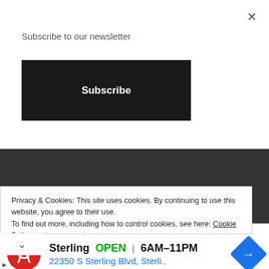×
Subscribe to our newsletter
Subscribe
[Figure (screenshot): Dark gray website background with hamburger menu icon (three horizontal lines) in a black box at top-left]
Privacy & Cookies: This site uses cookies. By continuing to use this website, you agree to their use.
To find out more, including how to control cookies, see here: Cookie Policy
[Figure (infographic): Advertisement banner: Sterling logo (red circular S), Sterling OPEN 6AM–11PM, 22350 S Sterling Blvd, Sterli.., blue direction arrow diamond icon]